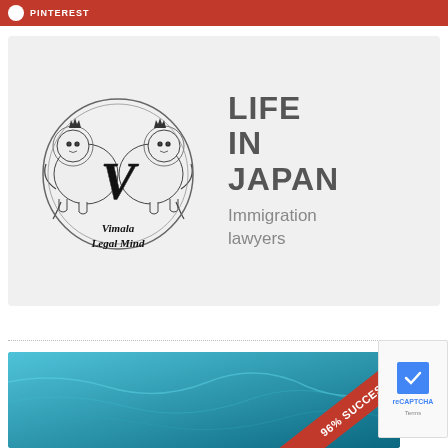PINTEREST
[Figure (logo): Vimala Legal Mind logo with two heraldic lions flanking a gothic V, with text 'Vimala Legal Mind' below]
LIFE IN JAPAN
Immigration lawyers
[Figure (photo): Blue water/ocean background image with red diagonal ribbon banner reading '96% SUCCESS']